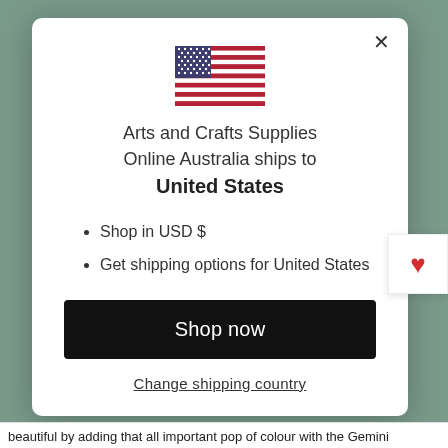[Figure (illustration): US flag SVG illustration centered at top of modal]
Arts and Crafts Supplies Online Australia ships to United States
Shop in USD $
Get shipping options for United States
Shop now
Change shipping country
beautiful by adding that all important pop of colour with the Gemini